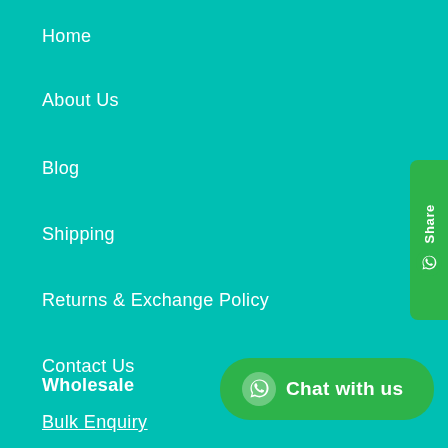Home
About Us
Blog
Shipping
Returns & Exchange Policy
Contact Us
Wholesale
Bulk Enquiry
[Figure (other): WhatsApp Share button on the right side, green background with 'Share' text rotated vertically and WhatsApp icon]
[Figure (other): Green 'Chat with us' WhatsApp button at bottom right corner]